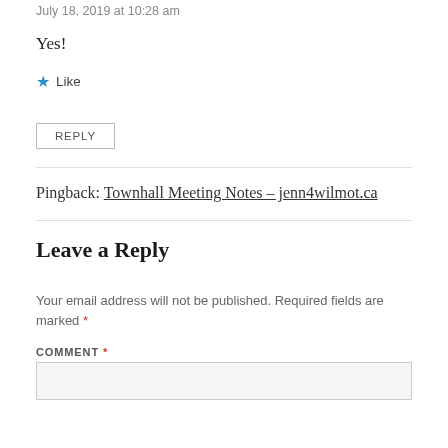July 18, 2019 at 10:28 am
Yes!
★ Like
REPLY
Pingback: Townhall Meeting Notes – jenn4wilmot.ca
Leave a Reply
Your email address will not be published. Required fields are marked *
COMMENT *